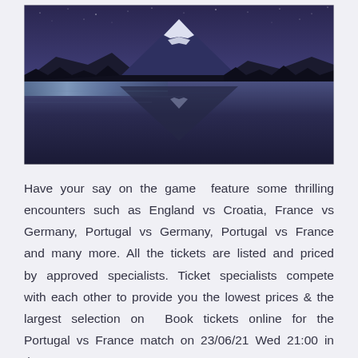[Figure (photo): Nighttime photo of a snow-capped mountain (likely Mount Fuji) reflected in a calm lake, with a dark silhouetted treeline and purple-blue starry sky.]
Have your say on the game  feature some thrilling encounters such as England vs Croatia, France vs Germany, Portugal vs Germany, Portugal vs France and many more. All the tickets are listed and priced by approved specialists. Ticket specialists compete with each other to provide you the lowest prices & the largest selection on  Book tickets online for the Portugal vs France match on 23/06/21 Wed 21:00 in the